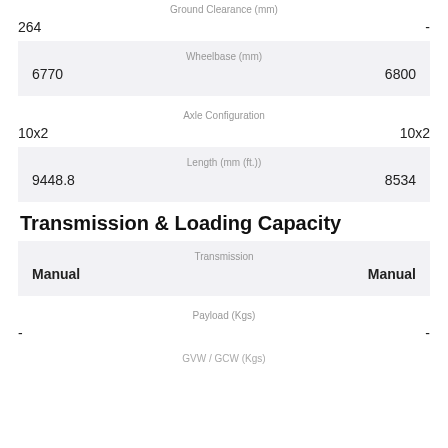| Ground Clearance (mm) |  |
| --- | --- |
| 264 | - |
| Wheelbase (mm) |  |
| --- | --- |
| 6770 | 6800 |
| Axle Configuration |  |
| --- | --- |
| 10x2 | 10x2 |
| Length (mm (ft.)) |  |
| --- | --- |
| 9448.8 | 8534 |
Transmission & Loading Capacity
| Transmission |  |
| --- | --- |
| Manual | Manual |
| Payload (Kgs) |  |
| --- | --- |
| - | - |
GVW / GCW (Kgs)